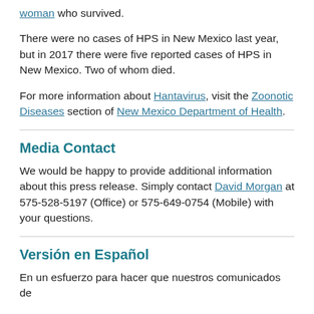woman who survived.
There were no cases of HPS in New Mexico last year, but in 2017 there were five reported cases of HPS in New Mexico. Two of whom died.
For more information about Hantavirus, visit the Zoonotic Diseases section of New Mexico Department of Health.
Media Contact
We would be happy to provide additional information about this press release. Simply contact David Morgan at 575-528-5197 (Office) or 575-649-0754 (Mobile) with your questions.
Versión en Español
En un esfuerzo para hacer que nuestros comunicados de